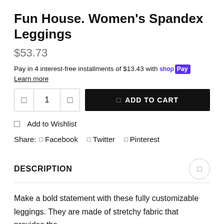Fun House. Women's Spandex Leggings
$53.73
Pay in 4 interest-free installments of $13.43 with shop Pay
Learn more
1  ADD TO CART
Add to Wishlist
Share:  Facebook  Twitter  Pinterest
DESCRIPTION
Make a bold statement with these fully customizable leggings. They are made of stretchy fabric that provides the